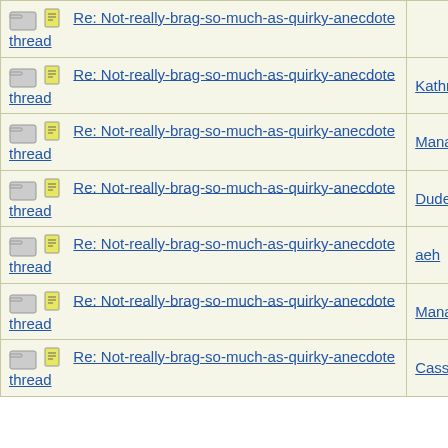| Subject | Author |
| --- | --- |
| Re: Not-really-brag-so-much-as-quirky-anecdote thread |  |
| Re: Not-really-brag-so-much-as-quirky-anecdote thread | KathrynH |
| Re: Not-really-brag-so-much-as-quirky-anecdote thread | Mana |
| Re: Not-really-brag-so-much-as-quirky-anecdote thread | Dude |
| Re: Not-really-brag-so-much-as-quirky-anecdote thread | aeh |
| Re: Not-really-brag-so-much-as-quirky-anecdote thread | Mana |
| Re: Not-really-brag-so-much-as-quirky-anecdote thread | Cassmo4 |